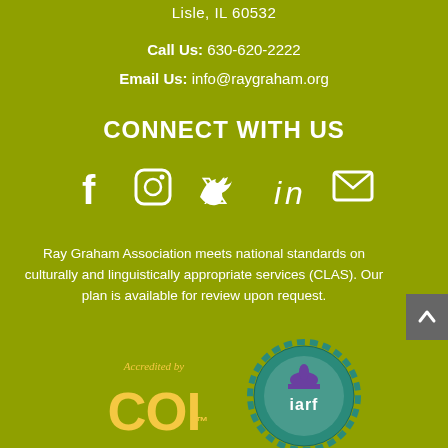Lisle, IL 60532
Call Us: 630-620-2222
Email Us: info@raygraham.org
CONNECT WITH US
[Figure (infographic): Social media icons row: Facebook, Instagram, Twitter, LinkedIn, Email]
Ray Graham Association meets national standards on culturally and linguistically appropriate services (CLAS). Our plan is available for review upon request.
[Figure (logo): COI Accredited by logo (yellow/gold text) and IARF seal (teal/purple badge)]